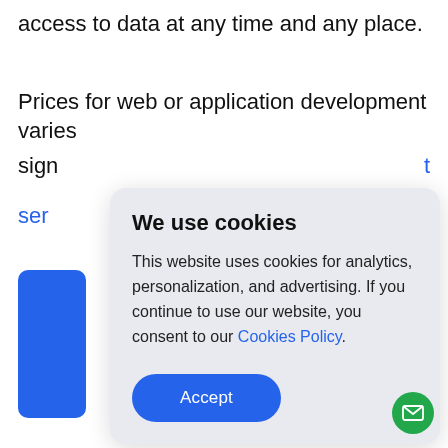access to data at any time and any place.
Prices for web or application development varies significantly t
services /.
[Figure (other): Blue rounded rectangle block visible on left side behind cookie popup]
[Figure (screenshot): Cookie consent popup overlay with title 'We use cookies', body text about analytics, personalization, advertising, a Cookies Policy link, and an Accept button]
[Figure (other): Green circular chat/email button at bottom right corner with envelope icon]